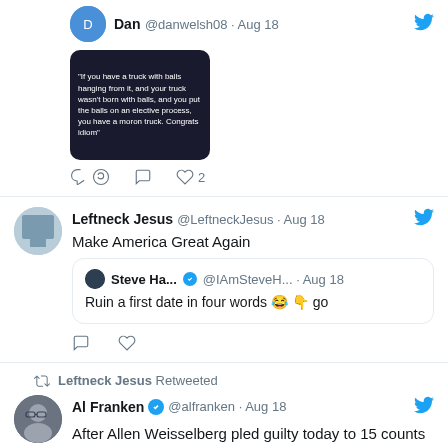[Figure (screenshot): Partial tweet from Dan @danwelsh08 · Aug 18 showing a dark image with text about trucks]
Dan @danwelsh08 · Aug 18
[Figure (screenshot): Dark image with text about trucks with balls]
♡ 2
Leftneck Jesus @LeftneckJesus · Aug 18
Make America Great Again
Steve Ha... ✓ @IAmSteveH... · Aug 18
Ruin a first date in four words 😂 👇 go
Leftneck Jesus Retweeted
Al Franken ✓ @alfranken · Aug 18
After Allen Weisselberg pled guilty today to 15 counts of tax fraud & implicated the Trump organization Trump posted on Truth Social - "Can't trust a guy named Weisselberg, know